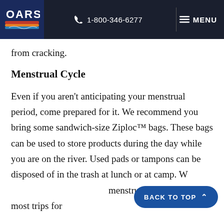OARS | 1-800-346-6277 | MENU
from cracking.
Menstrual Cycle
Even if you aren't anticipating your menstrual period, come prepared for it. We recommend you bring some sandwich-size Ziploc™ bags. These bags can be used to store products during the day while you are on the river. Used pads or tampons can be disposed of in the trash at lunch or at camp. W menstrual products on most trips for